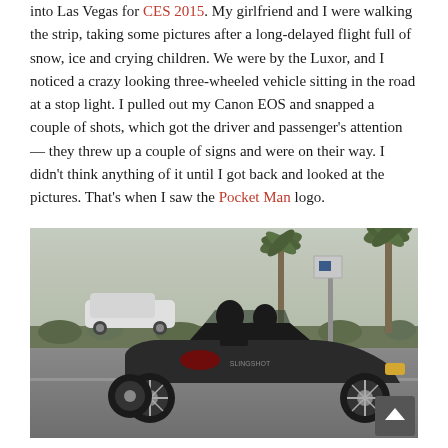into Las Vegas for CES 2015. My girlfriend and I were walking the strip, taking some pictures after a long-delayed flight full of snow, ice and crying children. We were by the Luxor, and I noticed a crazy looking three-wheeled vehicle sitting in the road at a stop light. I pulled out my Canon EOS and snapped a couple of shots, which got the driver and passenger's attention — they threw up a couple of signs and were on their way. I didn't think anything of it until I got back and looked at the pictures. That's when I saw the Pocket Man logo.
[Figure (photo): A black three-wheeled vehicle (Polaris Slingshot) driving on a Las Vegas road near the Luxor, with palm trees and a white car visible in the background.]